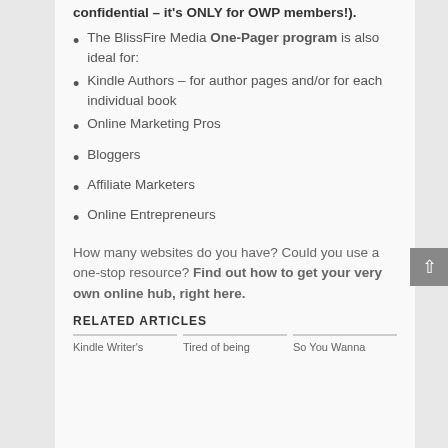confidential – it's ONLY for OWP members!).
The BlissFire Media One-Pager program is also ideal for:
Kindle Authors – for author pages and/or for each individual book
Online Marketing Pros
Bloggers
Affiliate Marketers
Online Entrepreneurs
How many websites do you have? Could you use a one-stop resource? Find out how to get your very own online hub, right here.
RELATED ARTICLES
Kindle Writer's
Tired of being
So You Wanna